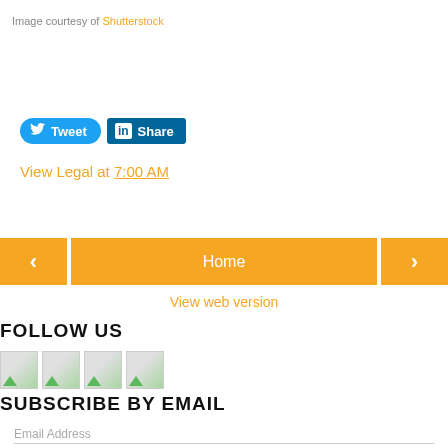Image courtesy of Shutterstock
[Figure (infographic): Twitter Tweet button and LinkedIn Share button]
View Legal at 7:00 AM
[Figure (infographic): Navigation bar with left arrow, Home button, and right arrow]
View web version
FOLLOW US
[Figure (infographic): Four social media icon placeholders]
SUBSCRIBE BY EMAIL
Email Address